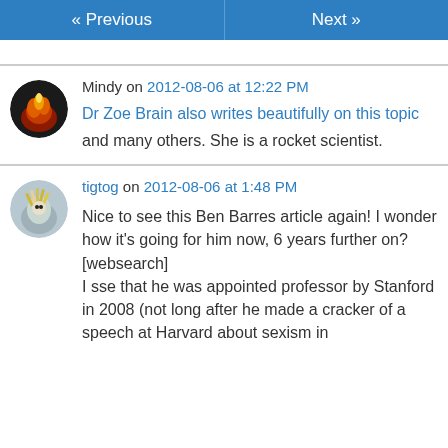« Previous   Next »
Mindy on 2012-08-06 at 12:22 PM
Dr Zoe Brain also writes beautifully on this topic
and many others. She is a rocket scientist.
tigtog on 2012-08-06 at 1:48 PM
Nice to see this Ben Barres article again! I wonder how it's going for him now, 6 years further on?
[websearch]
I sse that he was appointed professor by Stanford in 2008 (not long after he made a cracker of a speech at Harvard about sexism in